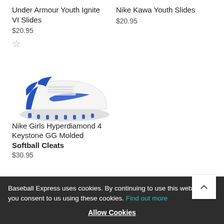Under Armour Youth Ignite VI Slides
$20.95
Nike Kawa Youth Slides
$20.95
[Figure (photo): Nike Girls Hyperdiamond 4 Keystone GG Molded Softball Cleats - white and blue athletic softball cleats with Nike swoosh]
Nike Girls Hyperdiamond 4 Keystone GG Molded Softball Cleats
$30.95
Baseball Express uses cookies. By continuing to use this website, you consent to us using these cookies. Find out more
Allow Cookies